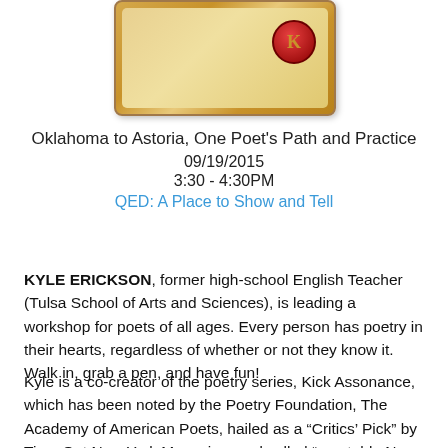[Figure (illustration): A decorative scroll with a red wax seal stamped with the letter K, appearing to be an event or certificate image.]
Oklahoma to Astoria, One Poet's Path and Practice
09/19/2015
3:30 - 4:30PM
QED: A Place to Show and Tell
KYLE ERICKSON, former high-school English Teacher (Tulsa School of Arts and Sciences), is leading a workshop for poets of all ages. Every person has poetry in their hearts, regardless of whether or not they know it. Walk in, grab a pen, and have fun!
Kyle is a co-creator of the poetry series, Kick Assonance, which has been noted by the Poetry Foundation, The Academy of American Poets, hailed as a “Critics’ Pick” by Time Out New York Magazine, and called “a notable New York Event” by The Rumpus. His work can